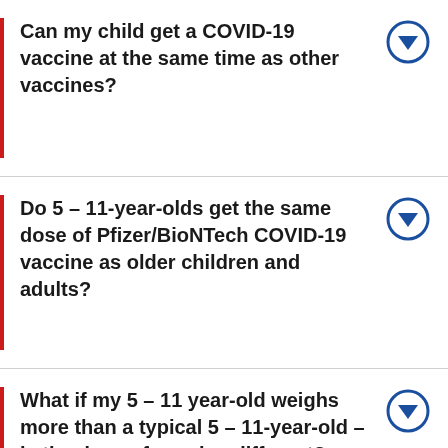Can my child get a COVID-19 vaccine at the same time as other vaccines?
Do 5 – 11-year-olds get the same dose of Pfizer/BioNTech COVID-19 vaccine as older children and adults?
What if my 5 – 11 year-old weighs more than a typical 5 – 11-year-old – is the dose of vaccine different?